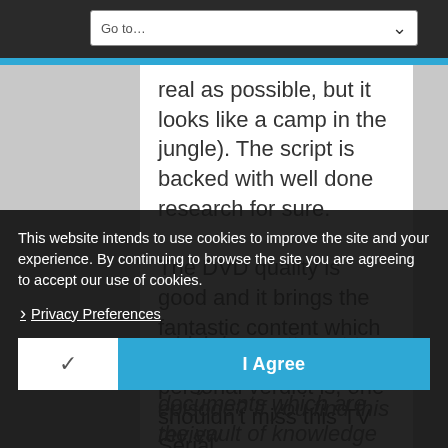Go to…
real as possible, but it looks like a camp in the jungle). The script is backed with well done research for sure.
The DVD quality is good and it brings the fantastic content which matters the most. Our personal verdict is, one shouldn't miss this TV Serial, which is an attempt to look at the ancient documents which are the vault of knowledge and wit.
Are you… Serial… his episode? If you find this review
This website intends to use cookies to improve the site and your experience. By continuing to browse the site you are agreeing to accept our use of cookies.
Privacy Preferences
I Agree